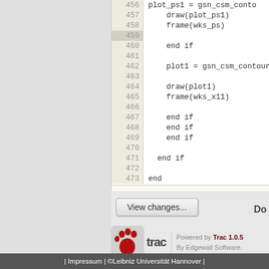[Figure (screenshot): Code viewer showing lines 456-473 of a script with line numbers in a beige column. Code includes NCL/Fortran-style syntax: plot_ps1 = gsn_csm_conto..., draw(plot_ps1), frame(wks_ps), end if, plot1 = gsn_csm_contour(wk..., draw(plot1), frame(wks_x11), end if, end if, end if, end if, end]
[Figure (screenshot): View changes button]
Do
[Figure (logo): Trac powered logo with paw print and text: Powered by Trac 1.0.5, By Edgewall Software.]
| Impressum | ©Leibniz Universität Hannover |